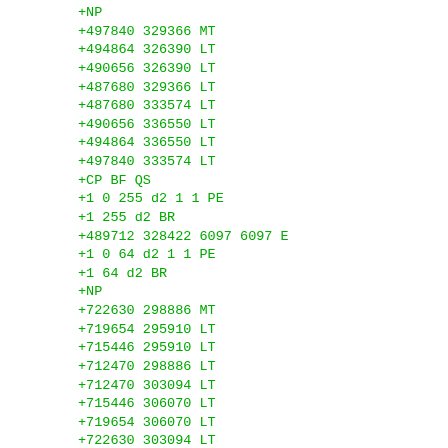+NP
+497840 329366 MT
+494864 326390 LT
+490656 326390 LT
+487680 329366 LT
+487680 333574 LT
+490656 336550 LT
+494864 336550 LT
+497840 333574 LT
+CP BF QS
+1 0 255 d2 1 1 PE
+1 255 d2 BR
+489712 328422 6097 6097 E
+1 0 64 d2 1 1 PE
+1 64 d2 BR
+NP
+722630 298886 MT
+719654 295910 LT
+715446 295910 LT
+712470 298886 LT
+712470 303094 LT
+715446 306070 LT
+719654 306070 LT
+722630 303094 LT
+CP BF QS
+1 0 255 d2 1 1 PE
+1 255 d2 BR
+714502 297942 6097 6097 E
+1 0 64 d2 1 1 PE
+1 64 d2 BR
+NP